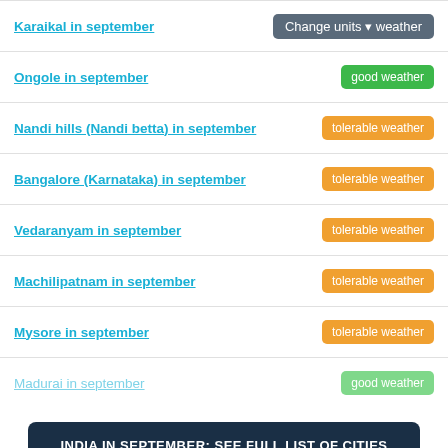Karaikal in september | Change units weather
Ongole in september | good weather
Nandi hills (Nandi betta) in september | tolerable weather
Bangalore (Karnataka) in september | tolerable weather
Vedaranyam in september | tolerable weather
Machilipatnam in september | tolerable weather
Mysore in september | tolerable weather
Madurai in september | good weather
INDIA IN SEPTEMBER: SEE FULL LIST OF CITIES
Click over cities on the map for information about the weather in